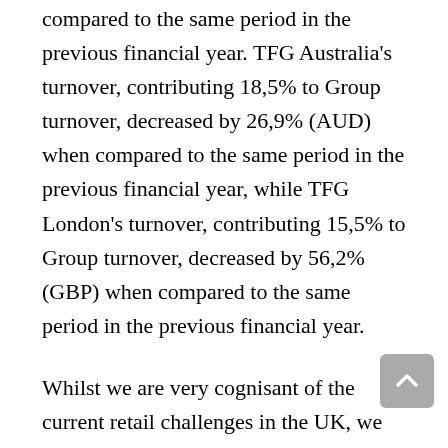compared to the same period in the previous financial year. TFG Australia's turnover, contributing 18,5% to Group turnover, decreased by 26,9% (AUD) when compared to the same period in the previous financial year, while TFG London's turnover, contributing 15,5% to Group turnover, decreased by 56,2% (GBP) when compared to the same period in the previous financial year.
Whilst we are very cognisant of the current retail challenges in the UK, we do believe that our UK brands remain very strong within their specific categories